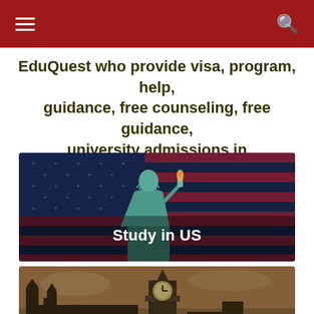Navigation bar with hamburger menu and search icon
EduQuest who provide visa, program, help, guidance, free counseling, free guidance, university admissions in
[Figure (photo): Statue of Liberty with American flag background, dark blue tones]
Study in US
[Figure (photo): Big Ben and Houses of Parliament in London, sepia/warm tones]
Study in London